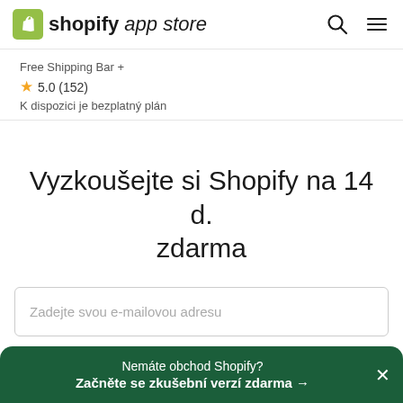shopify app store
Free Shipping Bar +
★ 5.0 (152)
K dispozici je bezplatný plán
Vyzkoušejte si Shopify na 14 d. zdarma
Zadejte svou e-mailovou adresu
Nemáte obchod Shopify? Začněte se zkušební verzí zdarma →